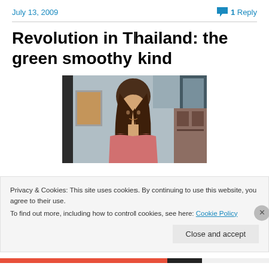July 13, 2009   1 Reply
Revolution in Thailand: the green smoothy kind
[Figure (photo): A woman with brown hair in a kitchen or studio setting, with shelves and artwork visible in the background.]
Privacy & Cookies: This site uses cookies. By continuing to use this website, you agree to their use.
To find out more, including how to control cookies, see here: Cookie Policy